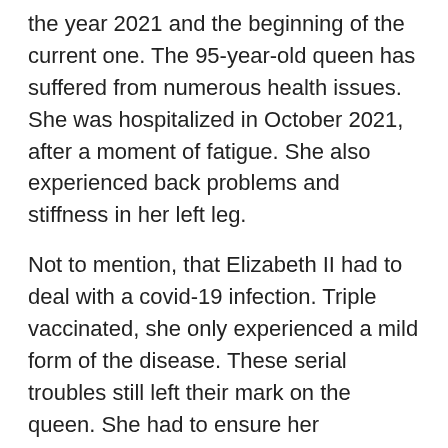the year 2021 and the beginning of the current one. The 95-year-old queen has suffered from numerous health issues. She was hospitalized in October 2021, after a moment of fatigue. She also experienced back problems and stiffness in her left leg.
Not to mention, that Elizabeth II had to deal with a covid-19 infection. Triple vaccinated, she only experienced a mild form of the disease. These serial troubles still left their mark on the queen. She had to ensure her commitments via videoconference during the last five months.
After a period of rest and withdrawal from public life, Elizabeth II managed to attend the tribute ceremony dedicated to her husband, Prince Philip who died on April 9, 2021. Even if she appeared tired and weak, moving with a cane and on the arm of her son Andrew, the Queen was present throughout the